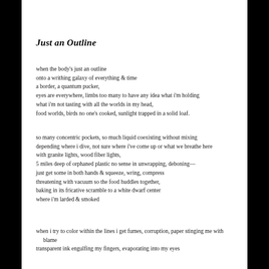Just an Outline
when the body's just an outline
onto a writhing galaxy of everything & time
a border, a quantum pucker,
eyes are everywhere, limbs too many to have any idea what i'm holding
what i'm not tasting with all the worlds in my head,
food worlds, birds no one's cooked, sunlight trapped in a solid loaf.
so many concentric pockets, so much liquid coexisting without mixing
depending where i dive, not sure where i've come up or what we breathe here
with granite lights, wood fiber lights,
5 miles deep of orphaned plastic no sense in unwrapping, deboning—
just get some in both hands & squeeze, wring, compress
threatening with vacuum so the food huddles together,
baking in its fricative scramble to a white dwarf center
where i'm larded & smoked
when i try to color within the lines i get fumes, corruption, paper stinging me with
    blame
transparent ink engulfing my fingers, evaporating into my eyes